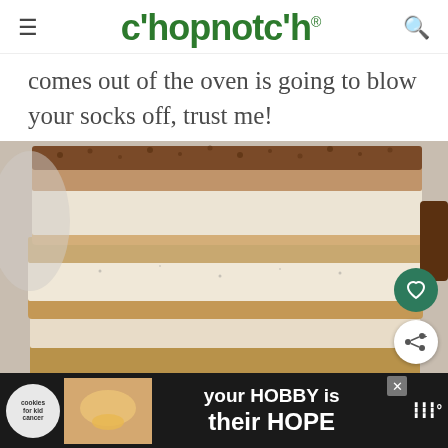chopnotch®
comes out of the oven is going to blow your socks off, trust me!
[Figure (photo): Close-up photo of stacked tiramisu bars showing layers: graham cracker crust, creamy white filling, light brown coffee mousse layer, and cocoa powder dusted top]
[Figure (infographic): Advertisement banner: 'cookies for kid cancer' logo with a child holding a heart-shaped cookie, text reads 'your HOBBY is their HOPE', with a close button and weather icon]